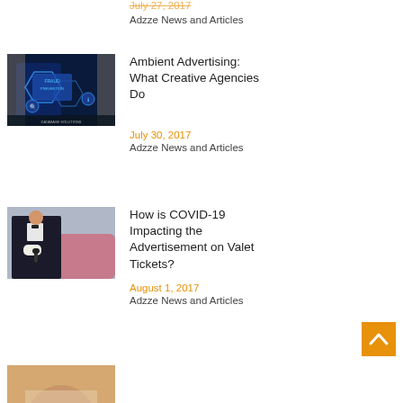July 27, 2017
Adzze News and Articles
Ambient Advertising: What Creative Agencies Do
[Figure (photo): Person holding a glowing digital fraud prevention interface with icons]
July 30, 2017
Adzze News and Articles
How is COVID-19 Impacting the Advertisement on Valet Tickets?
[Figure (photo): Valet in white gloves and suit holding car keys]
August 1, 2017
Adzze News and Articles
[Figure (photo): Partial image of person at bottom of page]